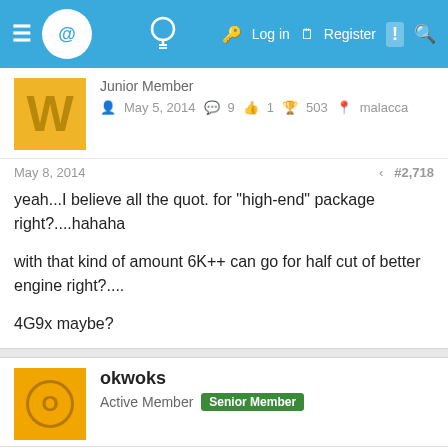Navigation bar with logo, lightbulb icon, Log in, Register links and search
Junior Member
May 5, 2014  9  1  503  malacca
May 8, 2014  #2,718
yeah...I believe all the quot. for "high-end" package right?....hahaha

with that kind of amount 6K++ can go for half cut of better engine right?....

4G9x maybe?
okwoks
Active Member  Senior Member
[Figure (screenshot): CarMax advertisement banner: See Cars Your Budget Will Love, CarMax]